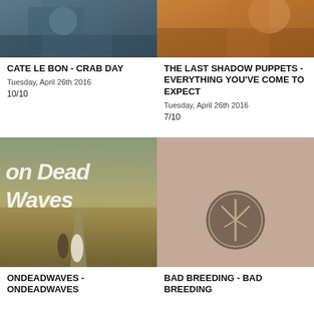[Figure (photo): Album cover photo for Cate Le Bon - Crab Day, blue-tinted portrait]
[Figure (photo): Album cover photo for The Last Shadow Puppets - Everything You've Come To Expect, orange/sandy tones]
CATE LE BON - CRAB DAY
Tuesday, April 26th 2016
10/10
THE LAST SHADOW PUPPETS - EVERYTHING YOU'VE COME TO EXPECT
Tuesday, April 26th 2016
7/10
[Figure (photo): Album cover for OnDeadWaves - OnDeadWaves, showing couple walking on road with large text overlay]
[Figure (photo): Album cover for Bad Breeding - Bad Breeding, pink/beige background with circular coin/medallion logo]
ONDEADWAVES - ONDEADWAVES
BAD BREEDING - BAD BREEDING